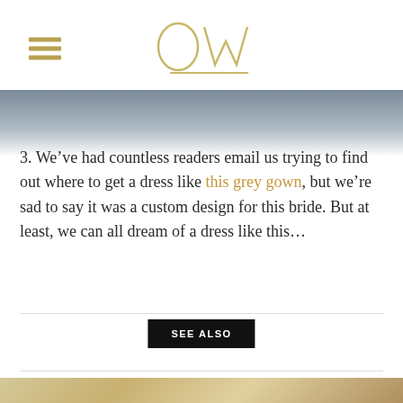OW (logo)
[Figure (photo): Top image strip showing a blurred outdoor/wedding scene]
3. We’ve had countless readers email us trying to find out where to get a dress like this grey gown, but we’re sad to say it was a custom design for this bride. But at least, we can all dream of a dress like this…
SEE ALSO
[Figure (photo): Bottom photo strip showing a close-up of a woman with blonde hair]